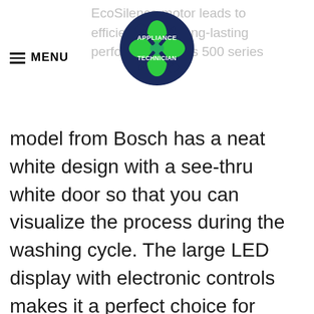≡ MENU
[Figure (logo): Appliance Technician logo — green and dark blue circular emblem with wrench and tools, text reads APPLIANCE TECHNICIAN]
EcoSilence motor leads to efficient, quiet, long-lasting performance. This 500 series model from Bosch has a neat white design with a see-thru white door so that you can visualize the process during the washing cycle. The large LED display with electronic controls makes it a perfect choice for routine cleaning.
Bosch 300 series machine comes with a space-saving, stackable design that leads to